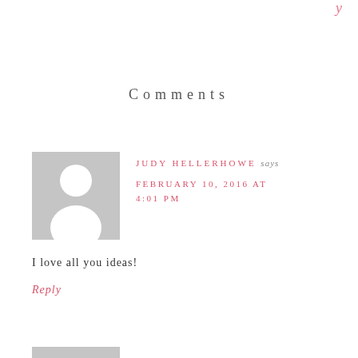y
Comments
[Figure (illustration): Default user avatar placeholder: grey square with white silhouette of a person (head circle and shoulders)]
JUDY HELLERHOWE says
FEBRUARY 10, 2016 AT 4:01 PM
I love all you ideas!
Reply